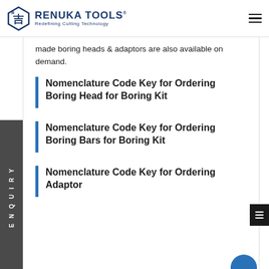RENUKA TOOLS — Redefining Cutting Technology
made boring heads & adaptors are also available on demand.
Nomenclature Code Key for Ordering Boring Head for Boring Kit
Nomenclature Code Key for Ordering Boring Bars for Boring Kit
Nomenclature Code Key for Ordering Adaptor